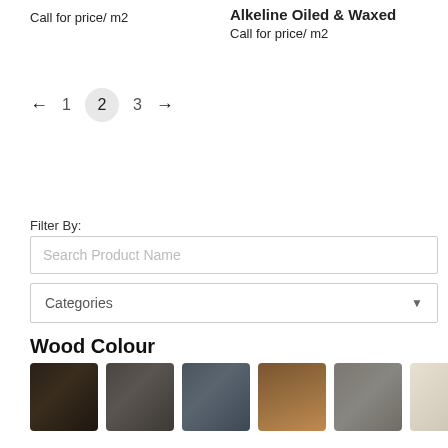Call for price/ m2
Alkeline Oiled & Waxed
Call for price/ m2
← 1 2 3 →
Filter By:
Search Product Name
Categories
Wood Colour
[Figure (other): Six wood colour swatches: dark brown, dark grey, slate blue-grey, warm brown/tan, mid grey stone, and light cream/beige. Partially obscured reCAPTCHA widget on the right.]